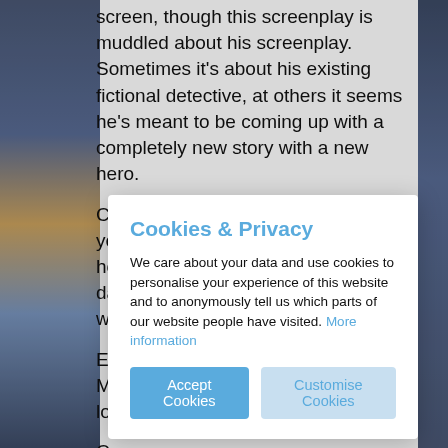screen, though this screenplay is muddled about his screenplay. Sometimes it's about his existing fictional detective, at others it seems he's meant to be coming up with a completely new story with a new hero.
Charles's first wife Elvira died seven years previously, after falling off her horse. He's been married to Ruth, daughter of a... w...
E... M... lo...
C... u... fr... convinced something did happen, but no one else is; later Charles goes downstairs and is surprised to find Elvira materialising there. She doesn't know she's dead, but is
Cookies & Privacy
We care about your data and use cookies to personalise your experience of this website and to anonymously tell us which parts of our website people have visited. More information
Accept Cookies
Customise Cookies